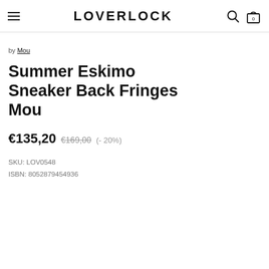LOVERLOCK
by Mou
Summer Eskimo Sneaker Back Fringes Mou
€135,20  €169,00  (- 20%)
SKU: LOV0548
ISBN: 8052879454936